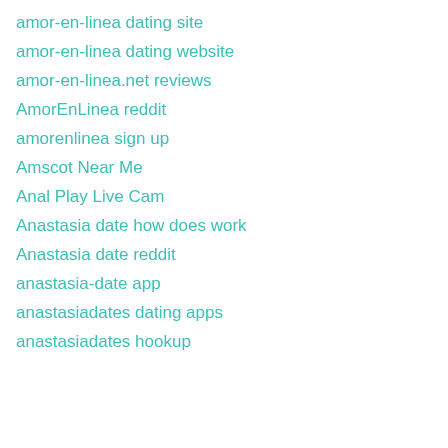amor-en-linea dating site
amor-en-linea dating website
amor-en-linea.net reviews
AmorEnLinea reddit
amorenlinea sign up
Amscot Near Me
Anal Play Live Cam
Anastasia date how does work
Anastasia date reddit
anastasia-date app
anastasiadates dating apps
anastasiadates hookup